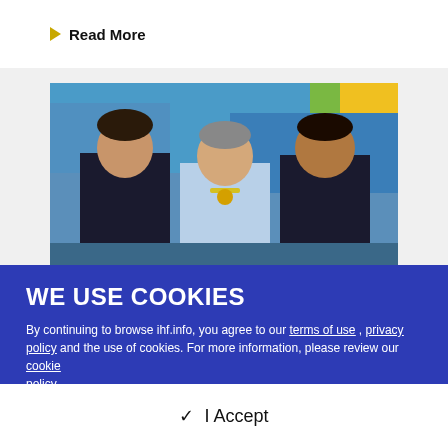Read More
[Figure (photo): Three men posing for a photo at a sports event, two wearing black sleeveless jerseys and one in a light blue shirt, with a blue background of what appears to be a handball arena]
WE USE COOKIES
By continuing to browse ihf.info, you agree to our terms of use , privacy policy and the use of cookies. For more information, please review our cookie policy.
✓ I Accept